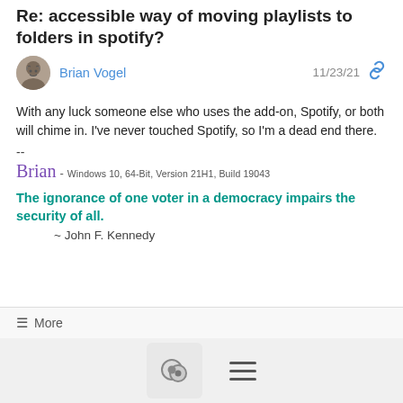Re: accessible way of moving playlists to folders in spotify?
Brian Vogel  11/23/21
With any luck someone else who uses the add-on, Spotify, or both will chime in.  I've never touched Spotify, so I'm a dead end there.
--
Brian - Windows 10, 64-Bit, Version 21H1, Build 19043
The ignorance of one voter in a democracy impairs the security of all.
~ John F. Kennedy
≡ More